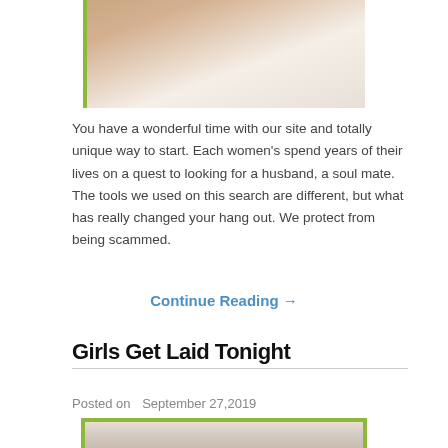[Figure (photo): Partial photo of a woman in white, cropped at top]
You have a wonderful time with our site and totally unique way to start. Each women's spend years of their lives on a quest to looking for a husband, a soul mate. The tools we used on this search are different, but what has really changed your hang out. We protect from being scammed.
Continue Reading →
Girls Get Laid Tonight
Posted on   September 27,2019
[Figure (photo): Partial photo at bottom of page, cropped]